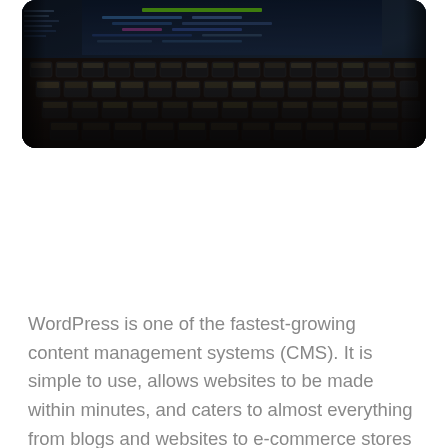[Figure (photo): Dark laptop keyboard with backlit keys, code visible on screen in dark blue/green tones]
WordPress is one of the fastest-growing content management systems (CMS). It is simple to use, allows websites to be made within minutes, and caters to almost everything from blogs and websites to e-commerce stores and even SaaS platforms.